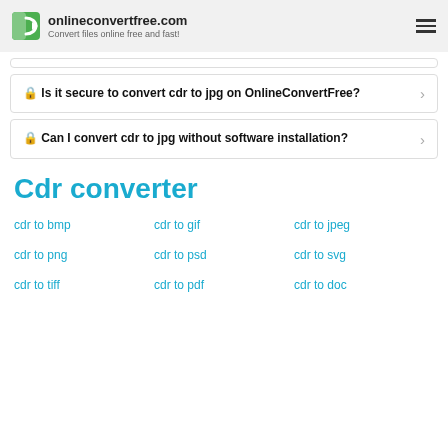onlineconvertfree.com — Convert files online free and fast!
🔒 Is it secure to convert cdr to jpg on OnlineConvertFree?
🔒 Can I convert cdr to jpg without software installation?
Cdr converter
cdr to bmp
cdr to gif
cdr to jpeg
cdr to png
cdr to psd
cdr to svg
cdr to tiff
cdr to pdf
cdr to doc